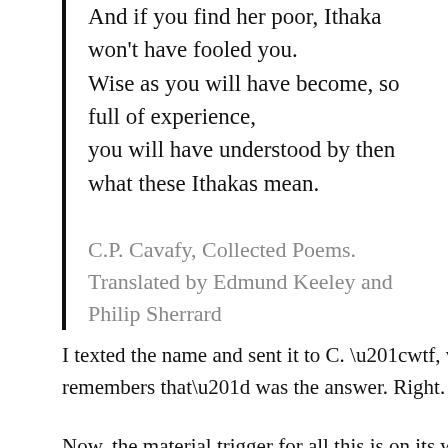And if you find her poor, Ithaka won't have fooled you.
Wise as you will have become, so full of experience,
you will have understood by then what these Ithakas mean.
C.P. Cavafy, Collected Poems. Translated by Edmund Keeley and Philip Sherrard
I texted the name and sent it to C. “wtf, who remembers that” was the answer. Right.
Now, the material trigger for all this is on its way to another hemisphere, and I hope it will continue to